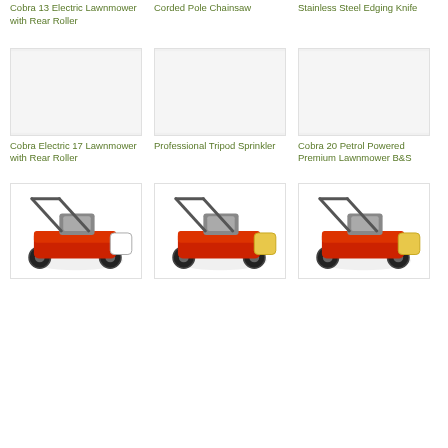Cobra 13 Electric Lawnmower with Rear Roller
Corded Pole Chainsaw
Stainless Steel Edging Knife
[Figure (photo): Cobra Electric 17 Lawnmower with Rear Roller product image (white/empty placeholder)]
Cobra Electric 17 Lawnmower with Rear Roller
[Figure (photo): Professional Tripod Sprinkler product image (white/empty placeholder)]
Professional Tripod Sprinkler
[Figure (photo): Cobra 20 Petrol Powered Premium Lawnmower B&S product image (white/empty placeholder)]
Cobra 20 Petrol Powered Premium Lawnmower B&S
[Figure (photo): Red petrol lawnmower product photo]
[Figure (photo): Red petrol lawnmower product photo]
[Figure (photo): Red petrol lawnmower product photo]